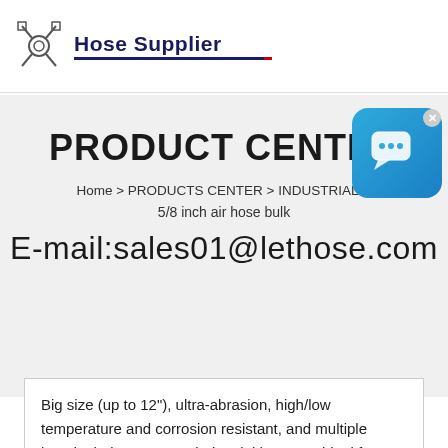[Figure (logo): Hose Supplier logo with icon and text, dark blue underline]
PRODUCT CENTER
Home > PRODUCTS CENTER > INDUSTRIAL H...
5/8 inch air hose bulk
E-mail:sales01@lethose.com
Big size (up to 12"), ultra-abrasion, high/low temperature and corrosion resistant, and multiple length choices, Letone industrial hose are ideal for industries like construction,